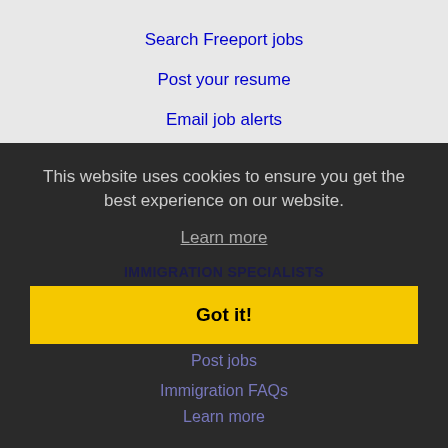Search Freeport jobs
Post your resume
Email job alerts
Register / Log in
EMPLOYERS
Post jobs
Search resumes
Email resume alerts
Advertise
IMMIGRATION SPECIALISTS
Post jobs
Immigration FAQs
Learn more
This website uses cookies to ensure you get the best experience on our website.
Learn more
Got it!